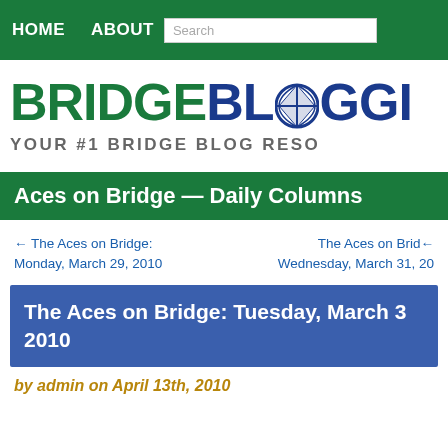HOME   ABOUT   Search
[Figure (logo): BridgeBlogging logo with compass icon and tagline YOUR #1 BRIDGE BLOG RESO]
Aces on Bridge — Daily Columns
← The Aces on Bridge: Monday, March 29, 2010
The Aces on Bridge: Wednesday, March 31, 20
The Aces on Bridge: Tuesday, March 3 2010
by admin on April 13th, 2010